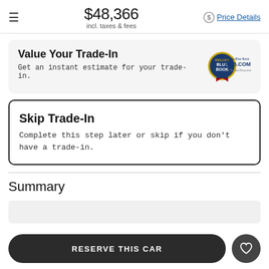$48,366 incl. taxes & fees Price Details
Value Your Trade-In
Get an instant estimate for your trade-in.
Skip Trade-In
Complete this step later or skip if you don't have a trade-in.
Summary
RESERVE THIS CAR